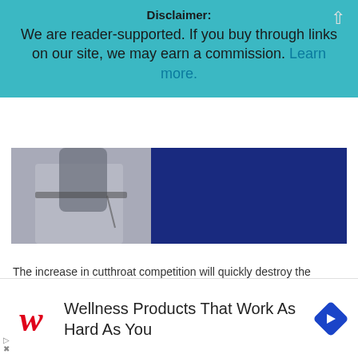Disclaimer:
We are reader-supported. If you buy through links on our site, we may earn a commission. Learn more.
[Figure (photo): Photo strip showing a person in gray trousers on the left and a dark blue background on the right, appearing to be a cropped website image.]
The increase in cutthroat competition will quickly destroy the profit margin in a niche.
nately, you can do a lot to diminish this problem by
[Figure (other): Advertisement for Walgreens: Wellness Products That Work As Hard As You, with Walgreens cursive W logo and a blue diamond navigation icon.]